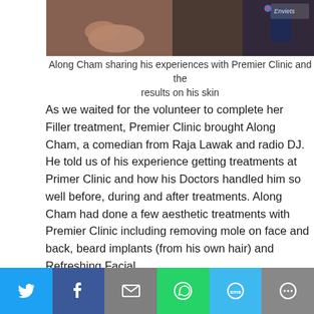[Figure (photo): Photo showing Along Cham sitting and sharing experiences with Premier Clinic representatives]
Along Cham sharing his experiences with Premier Clinic and the results on his skin
As we waited for the volunteer to complete her Filler treatment, Premier Clinic brought Along Cham, a comedian from Raja Lawak and radio DJ. He told us of his experience getting treatments at Primer Clinic and how his Doctors handled him so well before, during and after treatments. Along Cham had done a few aesthetic treatments with Premier Clinic including removing mole on face and back, beard implants (from his own hair) and Refreshing Facial.
Yes, aesthetic treatments are not for ladies only ya. Even men does aesthetic treatments nowadays – to
[Figure (infographic): Social media share bar with Twitter, Facebook, Email, WhatsApp, SMS, and More buttons]